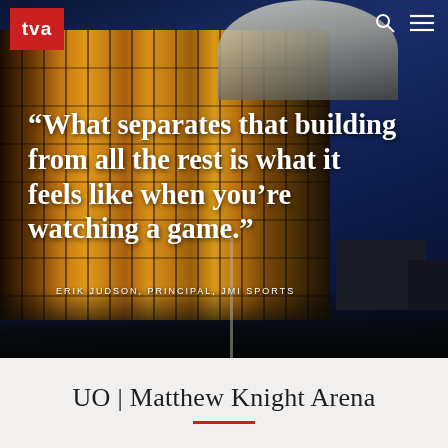[Figure (photo): Exterior night photograph of UO Matthew Knight Arena showing illuminated glass facade with vertical panels and domed roof against a deep blue dusk sky]
tva
“What separates that building from all the rest is what it feels like when you’re watching a game.”
ERIK JUDSON, PRINCIPAL, JMI SPORTS
UO | Matthew Knight Arena